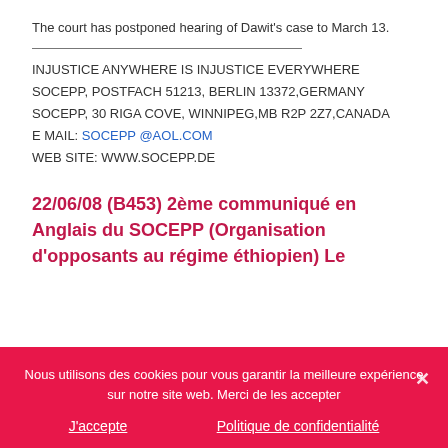The court has postponed hearing of Dawit's case to March 13.
INJUSTICE ANYWHERE IS INJUSTICE EVERYWHERE
SOCEPP, POSTFACH 51213, BERLIN 13372,GERMANY
SOCEPP, 30 RIGA COVE, WINNIPEG,MB R2P 2Z7,CANADA
E MAIL: SOCEPP @AOL.COM
WEB SITE: WWW.SOCEPP.DE
22/06/08 (B453) 2ème communiqué en Anglais du SOCEPP (Organisation d'opposants au régime éthiopien) Le
Nous utilisons des cookies pour vous garantir la meilleure expérience sur notre site web. Merci de les accepter
J'accepte
Politique de confidentialité